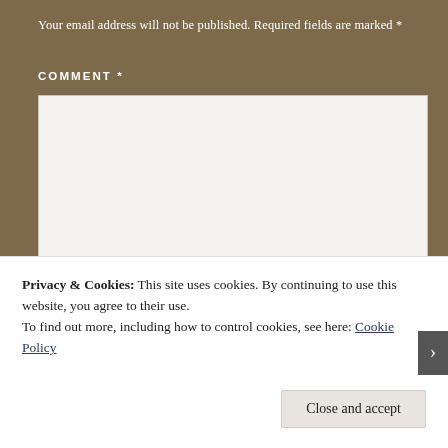Your email address will not be published. Required fields are marked *
COMMENT *
[Figure (other): Empty comment textarea input box with resize handle]
NAME *
Privacy & Cookies: This site uses cookies. By continuing to use this website, you agree to their use.
To find out more, including how to control cookies, see here: Cookie Policy
Close and accept